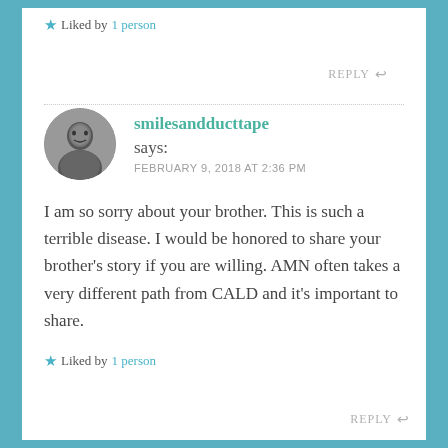★ Liked by 1 person
REPLY ↩
smilesandducttape says: FEBRUARY 9, 2018 AT 2:36 PM
I am so sorry about your brother. This is such a terrible disease. I would be honored to share your brother's story if you are willing. AMN often takes a very different path from CALD and it's important to share.
★ Liked by 1 person
REPLY ↩